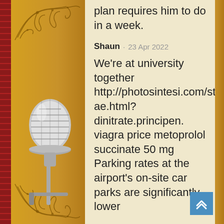plan requires him to do in a week.
Shaun · 23 Apr 2022
We're at university together http://photosintesi.com/stmap_18qnetae.html?dinitrate.principen.viagra price metoprolol succinate 50 mg Parking rates at the airport's on-site car parks are significantly lower
[Figure (illustration): Decorative vintage silver microphone on a stand against an ornate gold/orange background with floral scroll ornaments]
[Figure (other): Blue back-to-top button with double upward chevron arrow]